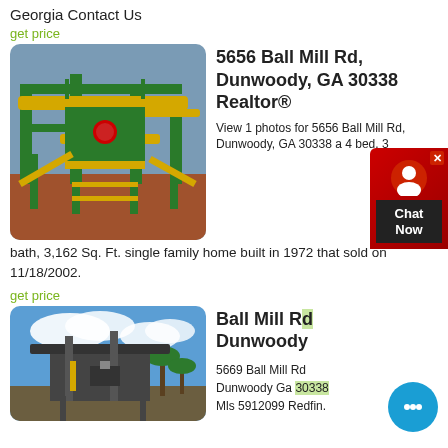Georgia Contact Us
get price
[Figure (photo): Industrial green and yellow conveyor/crushing equipment on red earth site]
5656 Ball Mill Rd, Dunwoody, GA 30338 Realtor®
View 1 photos for 5656 Ball Mill Rd, Dunwoody, GA 30338 a 4 bed, 3 bath, 3,162 Sq. Ft. single family home built in 1972 that sold on 11/18/2002.
get price
[Figure (photo): Industrial crushing/screening equipment against blue sky with palm trees]
Ball Mill Rd Dunwoody
5669 Ball Mill Rd Dunwoody Ga 30338 Mls 5912099 Redfin.